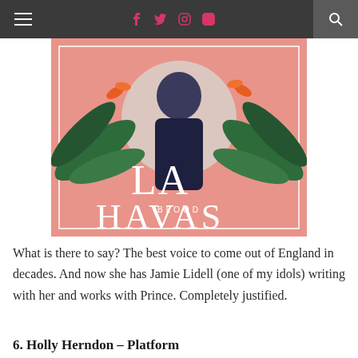≡  f  t  Instagram  Pinterest  🔍
[Figure (photo): Album cover for 'Blood' by LA Havas. Pink background with a young Black woman in navy outfit, tropical leaves, marble circle, white serif text reading 'LA HAVAS' and 'BLOOD'.]
What is there to say? The best voice to come out of England in decades. And now she has Jamie Lidell (one of my idols) writing with her and works with Prince. Completely justified.
6. Holly Herndon – Platform